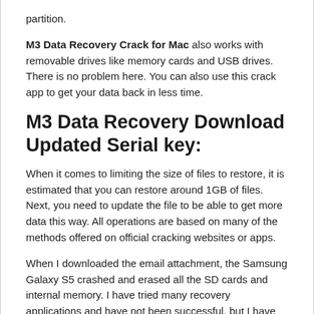partition.
M3 Data Recovery Crack for Mac also works with removable drives like memory cards and USB drives. There is no problem here. You can also use this crack app to get your data back in less time.
M3 Data Recovery Download Updated Serial key:
When it comes to limiting the size of files to restore, it is estimated that you can restore around 1GB of files. Next, you need to update the file to be able to get more data this way. All operations are based on many of the methods offered on official cracking websites or apps.
When I downloaded the email attachment, the Samsung Galaxy S5 crashed and erased all the SD cards and internal memory. I have tried many recovery applications and have not been successful, but I have seen criticism.